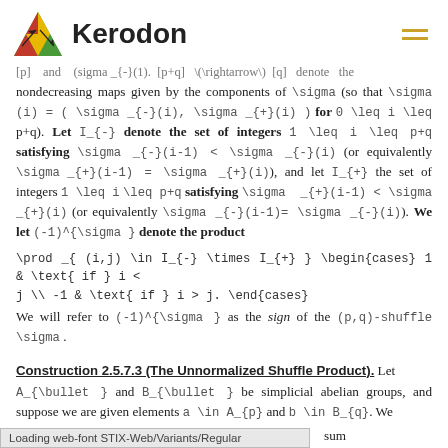Kerodon
[p] and (sigma _{-}(1). [p+q] \rightarrow [q] denote the nondecreasing maps given by the components of \sigma (so that \sigma (i) = ( \sigma _{-}(i), \sigma _{+}(i) ) for 0 \leq i \leq p+q). Let I_{-} denote the set of integers 1 \leq i \leq p+q satisfying \sigma _{-}(i-1) < \sigma _{-}(i) (or equivalently \sigma _{+}(i-1) = \sigma _{+}(i)), and let I_{+} the set of integers 1 \leq i \leq p+q satisfying \sigma _{+}(i-1) < \sigma _{+}(i) (or equivalently \sigma _{-}(i-1)= \sigma _{-}(i)). We let (-1)^{\sigma } denote the product
We will refer to (-1)^{\sigma } as the sign of the (p,q)-shuffle \sigma .
Construction 2.5.7.3 (The Unnormalized Shuffle Product).
Let A_{\bullet } and B_{\bullet } be simplicial abelian groups, and suppose we are given elements a \in A_{p} and b \in B_{q}. We sum
Loading web-font STIX-Web/Variants/Regular